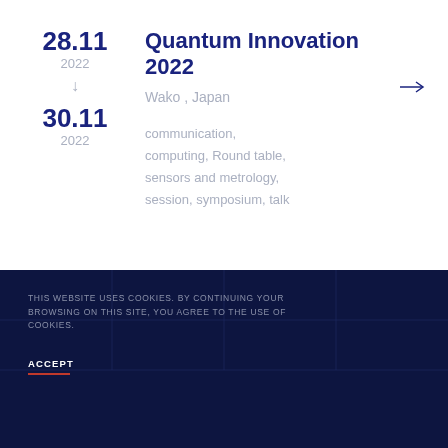Quantum Innovation 2022
Wako , Japan
28.11
2022
↓
30.11
2022
communication, computing, Round table, sensors and metrology, session, symposium, talk
THIS WEBSITE USES COOKIES. BY CONTINUING YOUR BROWSING ON THIS SITE, YOU AGREE TO THE USE OF COOKIES.
ACCEPT